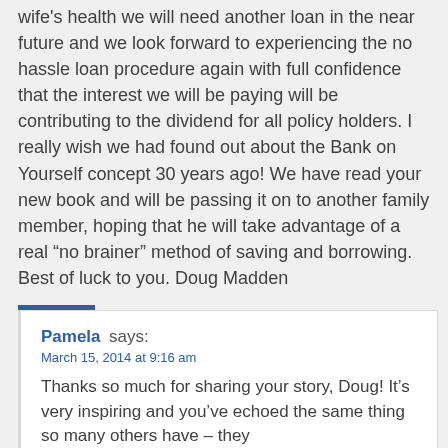wife's health we will need another loan in the near future and we look forward to experiencing the no hassle loan procedure again with full confidence that the interest we will be paying will be contributing to the dividend for all policy holders. I really wish we had found out about the Bank on Yourself concept 30 years ago! We have read your new book and will be passing it on to another family member, hoping that he will take advantage of a real “no brainer” method of saving and borrowing. Best of luck to you. Doug Madden
REPLY
Pamela says:
March 15, 2014 at 9:16 am

Thanks so much for sharing your story, Doug! It's very inspiring and you've echoed the same thing so many others have – they